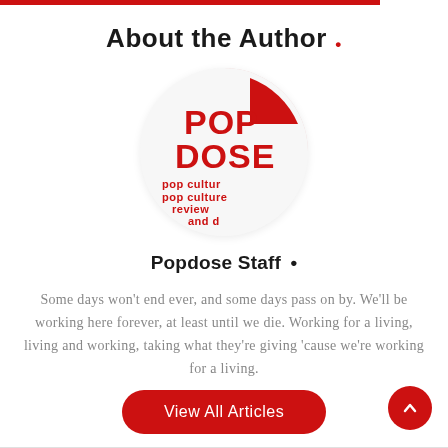About the Author .
[Figure (logo): Circular Popdose logo — red text 'POP DOSE pop culture review and d' on white background]
Popdose Staff •
Some days won't end ever, and some days pass on by. We'll be working here forever, at least until we die. Working for a living, living and working, taking what they're giving 'cause we're working for a living.
View All Articles